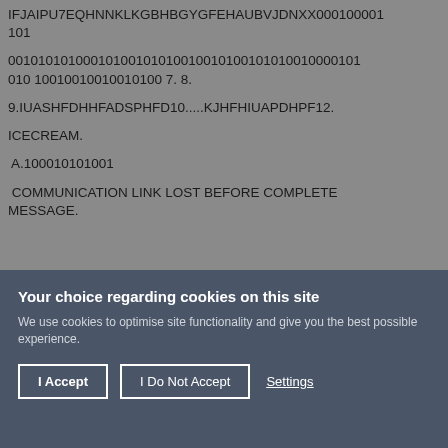IFJAIPU7EQHNNKLKGBHBGYGFEHAUBVJDNXX000100001 101
00101010100010100101010010010100101010010000101 010 10010010010010100 7. 8.
9.IUASHFDHHFADSPHFD10.....KJHFHIUAPDHPF12.
ICECREAM.
A.100010101001
COMMUNICATION LINK LOST BEFORE COMPLETE MESSAGE.
Your choice regarding cookies on this site
We use cookies to optimise site functionality and give you the best possible experience.